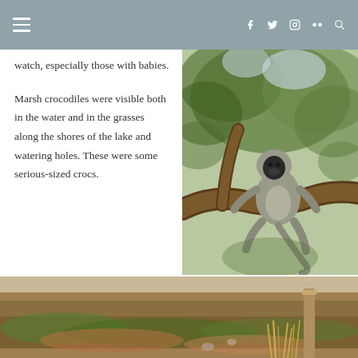Navigation header with hamburger menu and social icons
watch, especially those with babies.
Marsh crocodiles were visible both in the water and in the grasses along the shores of the lake and watering holes. These were some serious-sized crocs.
[Figure (photo): A grey langur monkey sitting on a tree branch surrounded by green foliage]
[Figure (photo): Savanna landscape with dry grass and a wooden post, partial view]